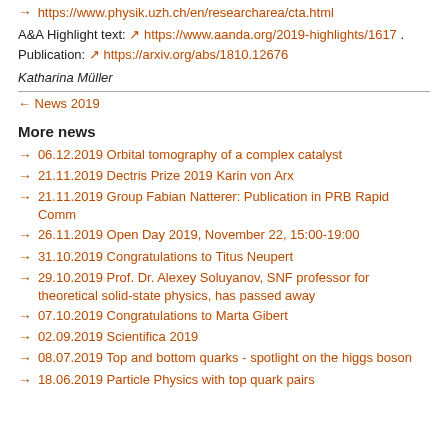→ https://www.physik.uzh.ch/en/researcharea/cta.html
A&A Highlight text: ↗ https://www.aanda.org/2019-highlights/1617 .
Publication: ↗ https://arxiv.org/abs/1810.12676
Katharina Müller
← News 2019
More news
→ 06.12.2019 Orbital tomography of a complex catalyst
→ 21.11.2019 Dectris Prize 2019 Karin von Arx
→ 21.11.2019 Group Fabian Natterer: Publication in PRB Rapid Comm
→ 26.11.2019 Open Day 2019, November 22, 15:00-19:00
→ 31.10.2019 Congratulations to Titus Neupert
→ 29.10.2019 Prof. Dr. Alexey Soluyanov, SNF professor for theoretical solid-state physics, has passed away
→ 07.10.2019 Congratulations to Marta Gibert
→ 02.09.2019 Scientifica 2019
→ 08.07.2019 Top and bottom quarks - spotlight on the higgs boson
→ 18.06.2019 Particle Physics with top quark pairs